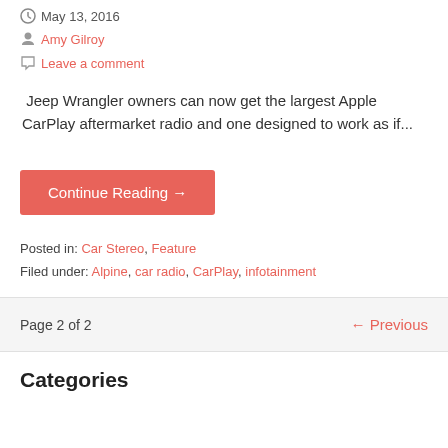May 13, 2016
Amy Gilroy
Leave a comment
Jeep Wrangler owners can now get the largest Apple CarPlay aftermarket radio and one designed to work as if...
Continue Reading →
Posted in: Car Stereo, Feature
Filed under: Alpine, car radio, CarPlay, infotainment
Page 2 of 2
← Previous
Categories